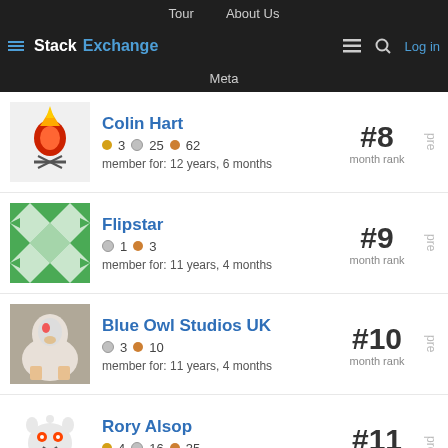Tour   About Us   Stack Exchange   Meta   Log in
Colin Hart · 3 gold 25 silver 62 bronze · member for: 12 years, 6 months · #8 month rank
Flipstar · 1 silver 3 bronze · member for: 11 years, 4 months · #9 month rank
Blue Owl Studios UK · 3 silver 10 bronze · member for: 11 years, 4 months · #10 month rank
Rory Alsop · 4 gold 16 silver 35 bronze · member for: 8 years, 8 months · #11 month rank
Jim Mack · 12 silver 15 bronze · member for: 8 years, 7 months · #12 month rank